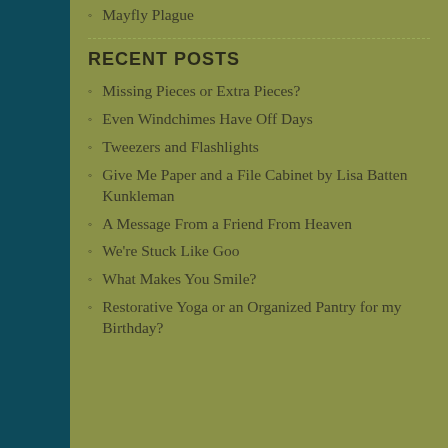Mayfly Plague
RECENT POSTS
Missing Pieces or Extra Pieces?
Even Windchimes Have Off Days
Tweezers and Flashlights
Give Me Paper and a File Cabinet by Lisa Batten Kunkleman
A Message From a Friend From Heaven
We're Stuck Like Goo
What Makes You Smile?
Restorative Yoga or an Organized Pantry for my Birthday?